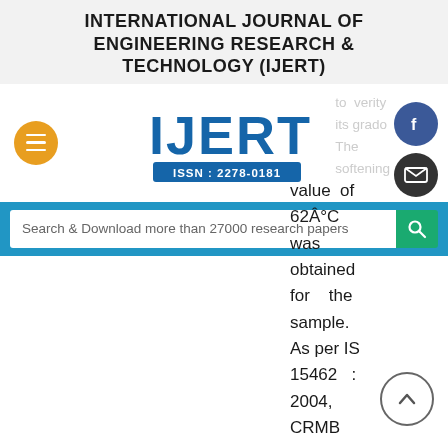INTERNATIONAL JOURNAL OF ENGINEERING RESEARCH & TECHNOLOGY (IJERT)
[Figure (logo): IJERT logo with ISSN: 2278-0181, flanked by menu button (left), Facebook and email icons (right), with faded background text]
Search & Download more than 27000 research papers
value of 62°C was obtained for the sample. As per IS 15462 : 2004, CRMB